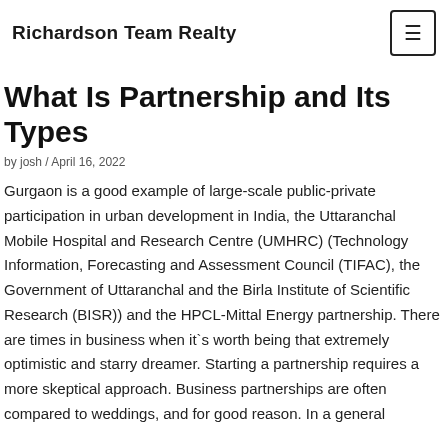Richardson Team Realty
What Is Partnership and Its Types
by josh / April 16, 2022
Gurgaon is a good example of large-scale public-private participation in urban development in India, the Uttaranchal Mobile Hospital and Research Centre (UMHRC) (Technology Information, Forecasting and Assessment Council (TIFAC), the Government of Uttaranchal and the Birla Institute of Scientific Research (BISR)) and the HPCL-Mittal Energy partnership. There are times in business when it`s worth being that extremely optimistic and starry dreamer. Starting a partnership requires a more skeptical approach. Business partnerships are often compared to weddings, and for good reason. In a general